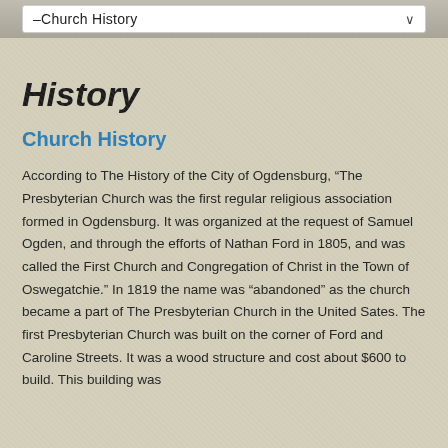–Church History
History
Church History
According to The History of the City of Ogdensburg, “The Presbyterian Church was the first regular religious association formed in Ogdensburg. It was organized at the request of Samuel Ogden, and through the efforts of Nathan Ford in 1805, and was called the First Church and Congregation of Christ in the Town of Oswegatchie.” In 1819 the name was “abandoned” as the church became a part of The Presbyterian Church in the United Sates. The first Presbyterian Church was built on the corner of Ford and Caroline Streets. It was a wood structure and cost about $600 to build. This building was